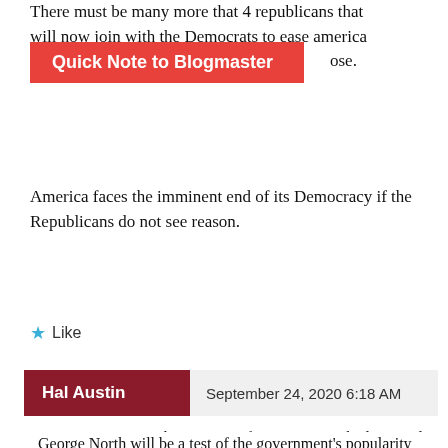There must be many more that 4 republicans that will now join with the Democrats to ease america close.
Quick Note to Blogmaster
America faces the imminent end of its Democracy if the Republicans do not see reason.
Like
Hal Austin   September 24, 2020 6:18 AM
This is a site of interest to Barbadians and Barbados affairs. Let the US and those interested in Trump go elsewhere. The by-election in St George North will be a test of the government's popularity after two years. It will also raise serious questions (or should) about a senior trade union executive contacting a